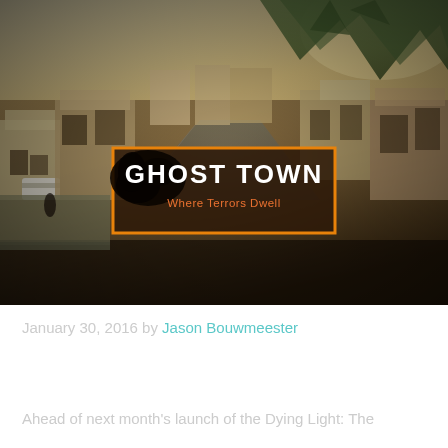[Figure (screenshot): Aerial game screenshot from Dying Light: The Following showing a Mediterranean-style town with buildings, roads, and mountains in the background, with a 'Ghost Town — Where Terrors Dwell' logo overlay in the center]
January 30, 2016 by Jason Bouwmeester
Dying Light: The Following Region Map, Nightmare Mode Videos Unveiled
Ahead of next month's launch of the Dying Light: The